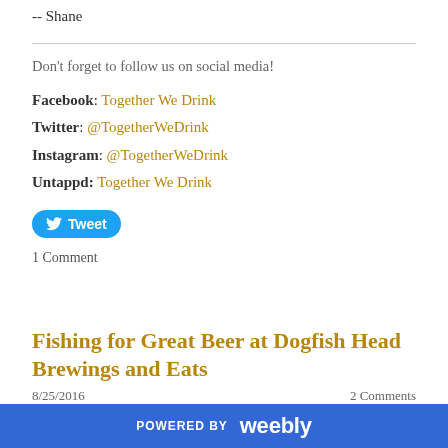-- Shane
Don't forget to follow us on social media!
Facebook: Together We Drink
Twitter: @TogetherWeDrink
Instagram: @TogetherWeDrink
Untappd: Together We Drink
Tweet
1 Comment
Fishing for Great Beer at Dogfish Head Brewings and Eats
8/25/2016    2 Comments
POWERED BY weebly